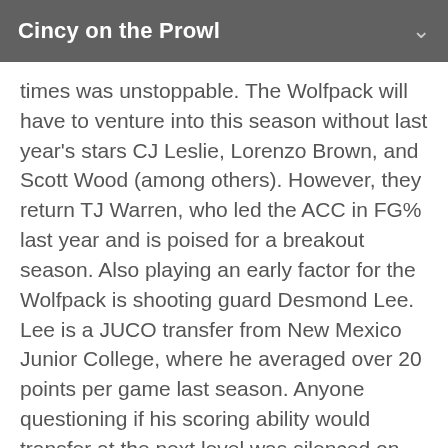Cincy on the Prowl
times was unstoppable. The Wolfpack will have to venture into this season without last year's stars CJ Leslie, Lorenzo Brown, and Scott Wood (among others). However, they return TJ Warren, who led the ACC in FG% last year and is poised for a breakout season. Also playing an early factor for the Wolfpack is shooting guard Desmond Lee. Lee is a JUCO transfer from New Mexico Junior College, where he averaged over 20 points per game last season. Anyone questioning if his scoring ability would transfer at the next level was silenced on opening night, as Lee poured in 24 points on 10-12 shooting against Appalachian State. Warren added 27. The Wolfpack scored 98. This offense is still dangerous.